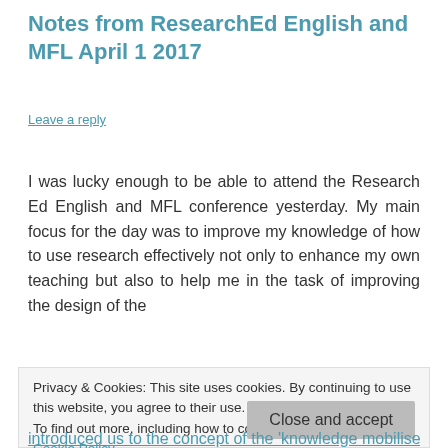Notes from ResearchEd English and MFL April 1 2017
Leave a reply
I was lucky enough to be able to attend the Research Ed English and MFL conference yesterday. My main focus for the day was to improve my knowledge of how to use research effectively not only to enhance my own teaching but also to help me in the task of improving the design of the
Privacy & Cookies: This site uses cookies. By continuing to use this website, you agree to their use.
To find out more, including how to control cookies, see here: Cookie Policy
introduced us to the concept of the 'knowledge mobiliser' the